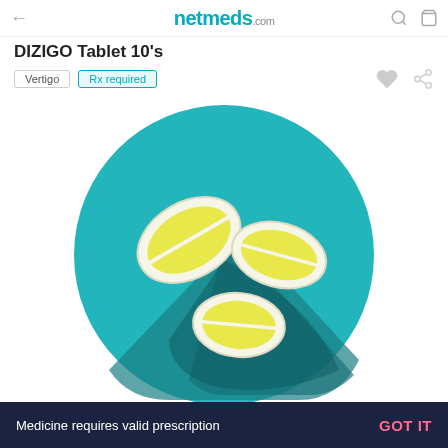netmeds.com
DIZIGO Tablet 10's
Vertigo
Rx required
[Figure (illustration): Three yellow oval tablets with a score line in the center, arranged on a teal circular background with a darker teal shadow]
Medicine requires valid prescription   GOT IT